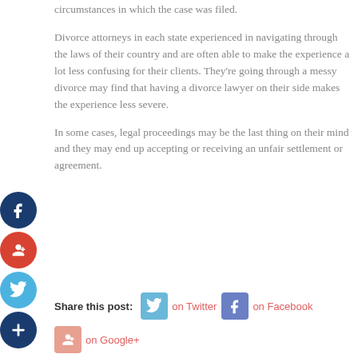circumstances in which the case was filed.
Divorce attorneys in each state experienced in navigating through the laws of their country and are often able to make the experience a lot less confusing for their clients. They're going through a messy divorce may find that having a divorce lawyer on their side makes the experience less severe.
In some cases, legal proceedings may be the last thing on their mind and they may end up accepting or receiving an unfair settlement or agreement.
Share this post: on Twitter on Facebook on Google+